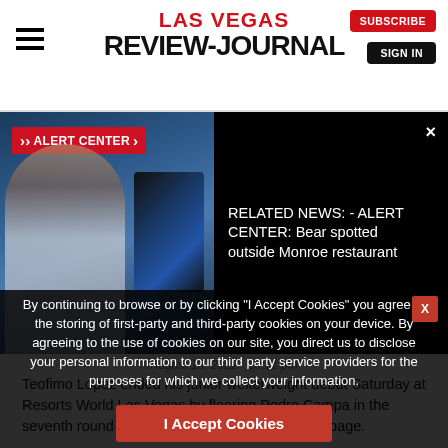LAS VEGAS REVIEW-JOURNAL | SUBSCRIBE | SIGN IN
[Figure (screenshot): Alert Center banner with news anchor and related news text: RELATED NEWS: - ALERT CENTER: Bear spotted outside Monroe restaurant]
August 13, 2022  10:11 pm
Teofimo Lopez ended his junior welterweight debut Saturday at Resorts World Las Vegas by flooring Pedro Campa in the seventh round with a flurry that prompted a stoppage.
[Figure (photo): Dark photo of a person, cropped]
Gordon: Move to 140 pounds fresh start for Teofimo Lopez
Former unified lightweight champion Teofimo Lopez is moving on from his upset loss to George Kambosos by debuting Saturday at 140 pounds ago...
By continuing to browse or by clicking "I Accept Cookies" you agree to the storing of first-party and third-party cookies on your device. By agreeing to the use of cookies on our site, you direct us to disclose your personal information to our third party service providers for the purposes for which we collect your information.
I Accept Cookies
... G chides Canelo Alvarez amid rematch